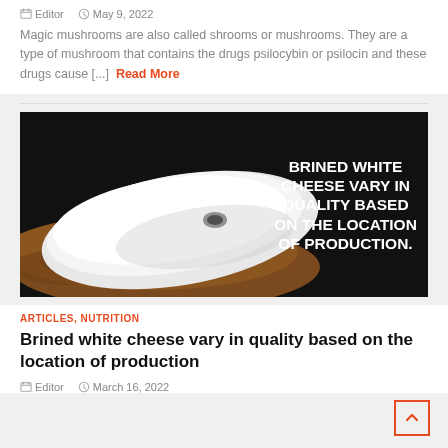Editor   May 9, 2022
Magic mushrooms are also called shrooms or mushrooms. They are a type of mushroom that contains the drugs psilocybin or psilocin and these drugs cause [...] Read More
[Figure (photo): A photo of white cheese spread on brown bread against a dark background with bold white text: BRINED WHITE CHEESE VARY IN QUALITY BASED ON THE LOCATION OF PRODUCTION.]
ARTICLES, NUTRITION
Brined white cheese vary in quality based on the location of production
Editor   March 16, 2022